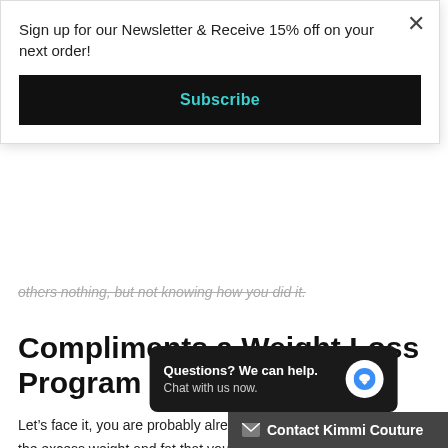Sign up for our Newsletter & Receive 15% off on your next order!
Subscribe
others nothing, but not knowing how you did it.
Compliments a Weight Loss Program
Let's face it, you are probably already dieting to lose as much of the excess weight and fat that you are carrying in an attempt to be lighter and look slimmer. This can take several months of discip... after a lot of time has passed, you m... pounds away from your ta...
Questions? We can help. Chat with us now.
Contact Kimmi Couture